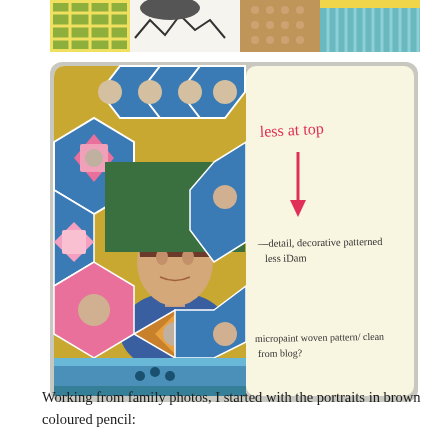[Figure (illustration): Top strip showing colorful fabric/textile patterns and abstract sketches in a horizontal band]
[Figure (photo): Open sketchbook showing a painted portrait of a woman surrounded by decorative hexagonal patterns with small portrait thumbnails, alongside a notebook page with handwritten annotations in pink and pencil: 'less at top' with a pink arrow pointing down, '—detail, decorative patterned less iDam', and 'micropaint woven pattern/ clean from blog?']
Working from family photos, I started with the portraits in brown coloured pencil: